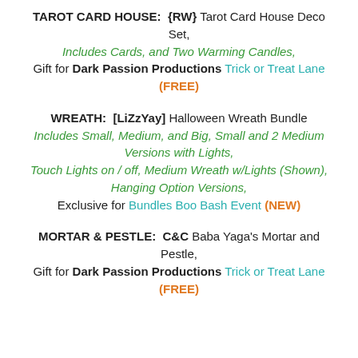TAROT CARD HOUSE: {RW} Tarot Card House Deco Set, Includes Cards, and Two Warming Candles, Gift for Dark Passion Productions Trick or Treat Lane (FREE)
WREATH: [LiZzYay] Halloween Wreath Bundle Includes Small, Medium, and Big, Small and 2 Medium Versions with Lights, Touch Lights on / off, Medium Wreath w/Lights (Shown), Hanging Option Versions, Exclusive for Bundles Boo Bash Event (NEW)
MORTAR & PESTLE: C&C Baba Yaga's Mortar and Pestle, Gift for Dark Passion Productions Trick or Treat Lane (FREE)